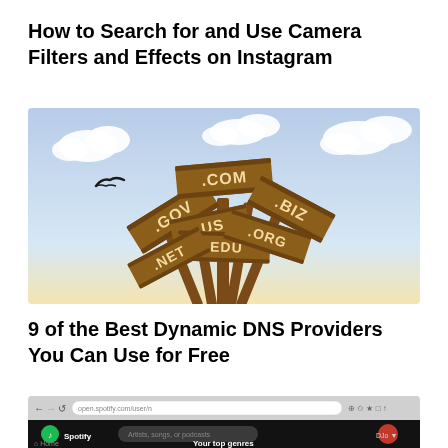How to Search for and Use Camera Filters and Effects on Instagram
[Figure (illustration): Illustration of wooden signs fanned out on poles showing domain name extensions: .GOV, .COM, .BIZ, .US, .EDU, .ORG, .NET, against a sky with clouds and a bird silhouette]
9 of the Best Dynamic DNS Providers You Can Use for Free
[Figure (screenshot): Screenshot of Spotify web app showing the home page with 'Your top genres' section visible in a dark theme browser window]